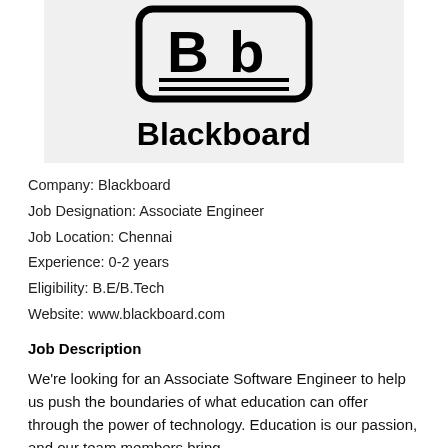[Figure (logo): Blackboard company logo — 'Bb' letters inside a rounded rectangle with two horizontal lines below, followed by 'Blackboard' text in bold]
Company: Blackboard
Job Designation: Associate Engineer
Job Location: Chennai
Experience: 0-2 years
Eligibility: B.E/B.Tech
Website: www.blackboard.com
Job Description
We're looking for an Associate Software Engineer to help us push the boundaries of what education can offer through the power of technology. Education is our passion, and our team members bring